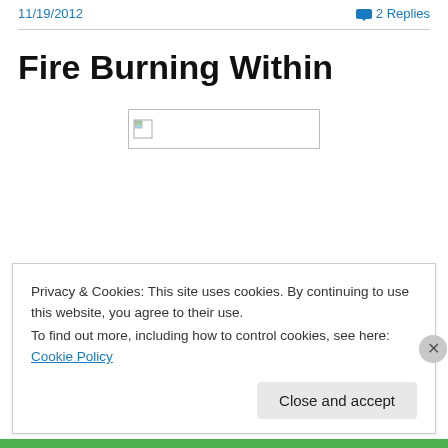11/19/2012   2 Replies
Fire Burning Within
[Figure (photo): Broken image placeholder (image failed to load)]
Privacy & Cookies: This site uses cookies. By continuing to use this website, you agree to their use.
To find out more, including how to control cookies, see here: Cookie Policy